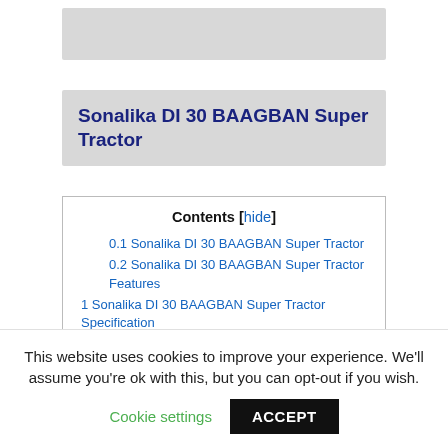[Figure (other): Gray banner/advertisement area at the top of the page]
Sonalika DI 30 BAAGBAN Super Tractor
Contents [hide]
0.1 Sonalika DI 30 BAAGBAN Super Tractor
0.2 Sonalika DI 30 BAAGBAN Super Tractor Features
1 Sonalika DI 30 BAAGBAN Super Tractor Specification
1.1 Sonalika DI 30 BAAGBAN Super Tractor Application
This website uses cookies to improve your experience. We'll assume you're ok with this, but you can opt-out if you wish.
Cookie settings  ACCEPT